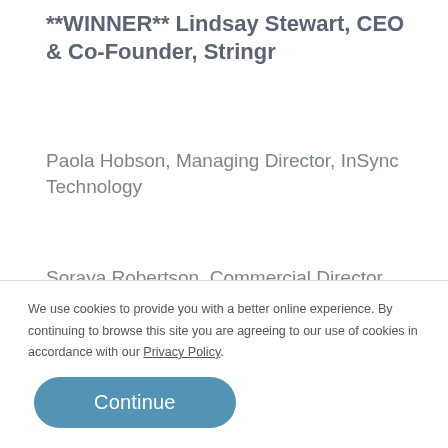**WINNER** Lindsay Stewart, CEO & Co-Founder, Stringr
Paola Hobson, Managing Director, InSync Technology
Soraya Robertson, Commercial Director, TheCollectv
Engineering – sponsored by OWNZONES
We use cookies to provide you with a better online experience. By continuing to browse this site you are agreeing to our use of cookies in accordance with our Privacy Policy.
Continue